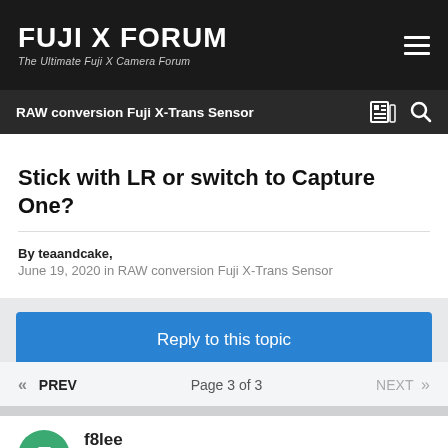FUJI X FORUM
The Ultimate Fuji X Camera Forum
RAW conversion Fuji X-Trans Sensor
Stick with LR or switch to Capture One?
By teaandcake,
June 19, 2020 in RAW conversion Fuji X-Trans Sensor
Reply to this topic
« PREV
Page 3 of 3
NEXT »
f8lee
Posted January 2, 2021